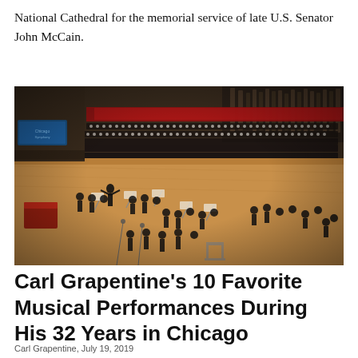National Cathedral for the memorial service of late U.S. Senator John McCain.
[Figure (photo): Aerial view of a large orchestra and choir performing on a concert stage, viewed from above and behind. Musicians in formal black attire fill the wooden stage floor. A large choir is seated in tiered rows in the background. Red accent elements visible on stage left.]
Carl Grapentine's 10 Favorite Musical Performances During His 32 Years in Chicago
Carl Grapentine, July 19, 2019